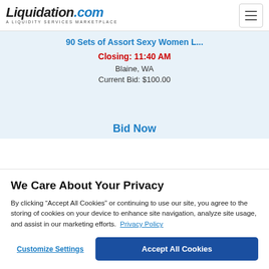[Figure (logo): Liquidation.com logo with tagline 'A LIQUIDITY SERVICES MARKETPLACE']
90 Sets of Assort Sexy Women L...
Closing: 11:40 AM
Blaine, WA
Current Bid: $100.00
Bid Now
We Care About Your Privacy
By clicking “Accept All Cookies” or continuing to use our site, you agree to the storing of cookies on your device to enhance site navigation, analyze site usage, and assist in our marketing efforts. Privacy Policy
Customize Settings
Accept All Cookies